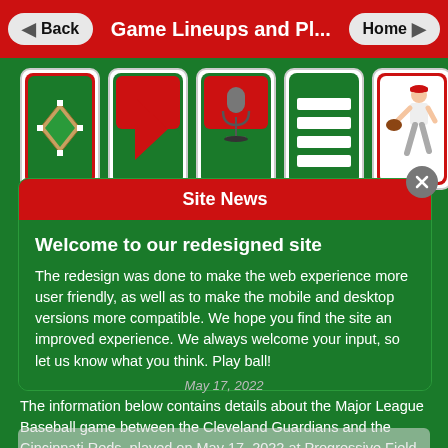Game Lineups and Pl...
[Figure (screenshot): Five navigation icon cards in a row: baseball field, play button, microphone, list/menu, baseball player fielding]
Site News
Welcome to our redesigned site
The redesign was done to make the web experience more user friendly, as well as to make the mobile and desktop versions more compatible. We hope you find the site an improved experience. We always welcome your input, so let us know what you think. Play ball!
May 17, 2022
The information below contains details about the Major League Baseball game between the Cleveland Guardians and the Cincinnati Reds, played on May 17, 2022 at Progressive Field.